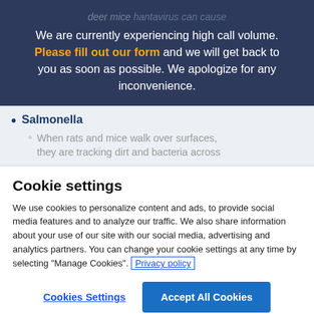deer mice hantavirus can cause
We are currently experiencing high call volume. Please fill out our form and we will get back to you as soon as possible. We apologize for any inconvenience.
Salmonella
When rats and mice walk over surfaces, they are tracking dirt and bacteria across
Cookie settings
We use cookies to personalize content and ads, to provide social media features and to analyze our traffic. We also share information about your use of our site with our social media, advertising and analytics partners. You can change your cookie settings at any time by selecting “Manage Cookies”. Privacy policy
Cookies Settings
Accept All Cookies